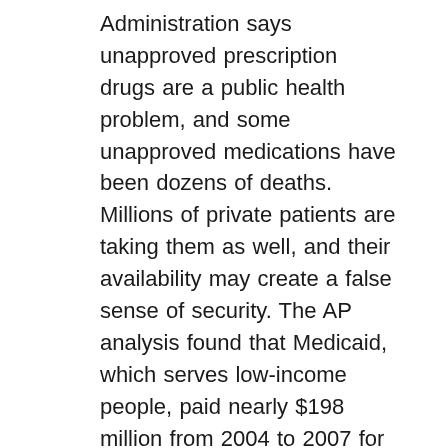Administration says unapproved prescription drugs are a public health problem, and some unapproved medications have been dozens of deaths. Millions of private patients are taking them as well, and their availability may create a false sense of security. The AP analysis found that Medicaid, which serves low-income people, paid nearly $198 million from 2004 to 2007 for more than 100 unapproved drugs. Data for 2008 were not available but unapproved drugs still are being sold. The AP checked the medications against FDA databases, using agency guidelines to determine if they were unapproved. The FDA says there may be thousands of such drugs on the market. The medications are mainly for common conditions like colds ad pain. They date back decades, before the FDA tightened